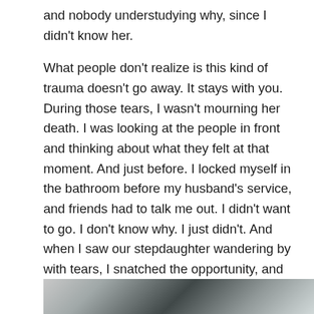and nobody understudying why, since I didn't know her.

What people don't realize is this kind of trauma doesn't go away. It stays with you. During those tears, I wasn't mourning her death. I was looking at the people in front and thinking about what they felt at that moment. And just before. I locked myself in the bathroom before my husband's service, and friends had to talk me out. I didn't want to go. I don't know why. I just didn't. And when I saw our stepdaughter wandering by with tears, I snatched the opportunity, and took her to her room, where I stayed with her until it was over. Again, crying with her. She didn't want an angel daddy. She wanted the dad who took her to school on his motorcycle. She was six years old. She doesn't remember most of this, because she has blocked it out.
[Figure (photo): Partial photo strip visible at the bottom of the page, showing a dimly lit or dark scene.]